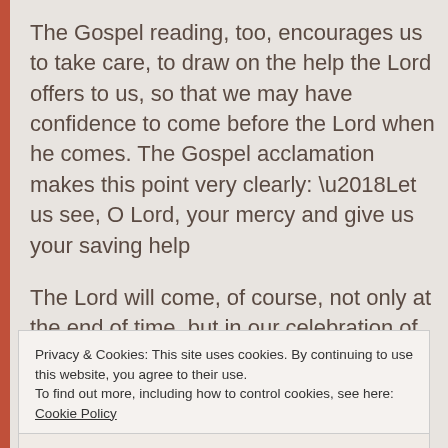The Gospel reading, too, encourages us to take care, to draw on the help the Lord offers to us, so that we may have confidence to come before the Lord when he comes. The Gospel acclamation makes this point very clearly: ‘Let us see, O Lord, your mercy and give us your saving help
The Lord will come, of course, not only at the end of time, but in our celebration of the Mass – in the
Privacy & Cookies: This site uses cookies. By continuing to use this website, you agree to their use.
To find out more, including how to control cookies, see here: Cookie Policy
Close and accept
The concluding prayer of the Mass encourages us